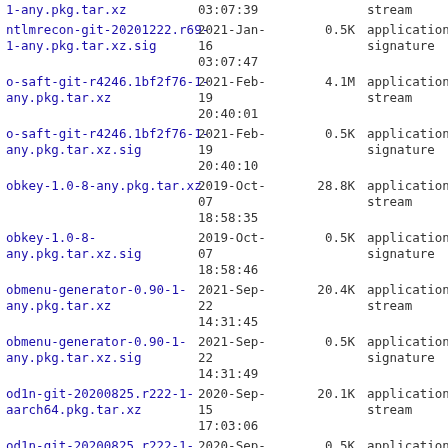| Filename | Date | Size | Type |
| --- | --- | --- | --- |
| 1-any.pkg.tar.xz | 03:07:39 |  | stream |
| ntlmrecon-git-20201222.r69-1-any.pkg.tar.xz.sig | 2021-Jan-16
03:07:47 | 0.5K | application/p
signature |
| o-saft-git-r4246.1bf2f76-1-any.pkg.tar.xz | 2021-Feb-19
20:40:01 | 4.1M | application/o
stream |
| o-saft-git-r4246.1bf2f76-1-any.pkg.tar.xz.sig | 2021-Feb-19
20:40:10 | 0.5K | application/p
signature |
| obkey-1.0-8-any.pkg.tar.xz | 2019-Oct-07
18:58:35 | 28.8K | application/o
stream |
| obkey-1.0-8-any.pkg.tar.xz.sig | 2019-Oct-07
18:58:46 | 0.5K | application/p
signature |
| obmenu-generator-0.90-1-any.pkg.tar.xz | 2021-Sep-22
14:31:45 | 20.4K | application/o
stream |
| obmenu-generator-0.90-1-any.pkg.tar.xz.sig | 2021-Sep-22
14:31:49 | 0.5K | application/p
signature |
| od1n-git-20200825.r222-1-aarch64.pkg.tar.xz | 2020-Sep-15
17:03:06 | 20.1K | application/o
stream |
| od1n-git-20200825.r222-1-aarch64.pkg.tar.xz.sig | 2020-Sep-15
17:03:11 | 0.5K | application/p
signature |
| onionscan-git-20170225.r130-3-aarch64.pkg.tar.xz | 2020-Aug-17
15:42:16 | 2.6M | application/o
stream |
| onionscan-git- | 2020-Aug- |  | application/ |